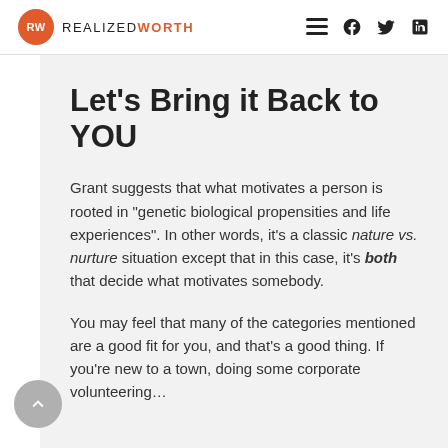RW REALIZEDWORTH
Let's Bring it Back to YOU
Grant suggests that what motivates a person is rooted in “genetic biological propensities and life experiences”. In other words, it’s a classic nature vs. nurture situation except that in this case, it’s both that decide what motivates somebody.
You may feel that many of the categories mentioned are a good fit for you, and that’s a good thing. If you’re new to a town, doing some corporate volunteering …